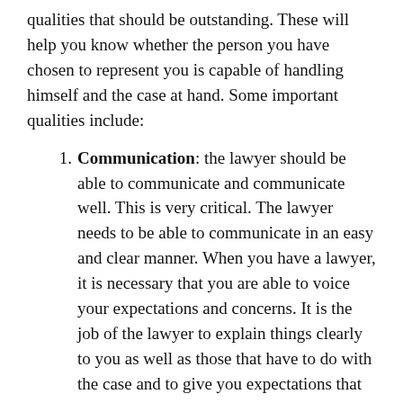qualities that should be outstanding. These will help you know whether the person you have chosen to represent you is capable of handling himself and the case at hand. Some important qualities include:
Communication: the lawyer should be able to communicate and communicate well. This is very critical. The lawyer needs to be able to communicate in an easy and clear manner. When you have a lawyer, it is necessary that you are able to voice your expectations and concerns. It is the job of the lawyer to explain things clearly to you as well as those that have to do with the case and to give you expectations that are realistic. The lawyer should also be able to communicate with other parties to the case. Good communication leads to effective negotiations keeping costs down. A good